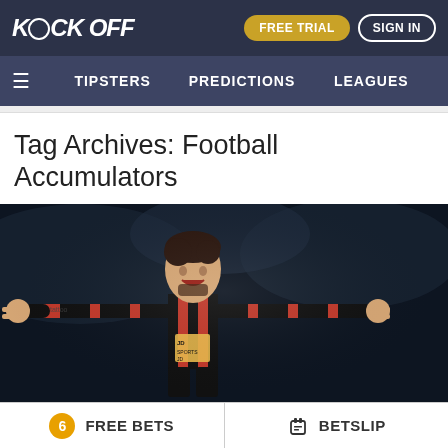K?CK OFF | FREE TRIAL | SIGN IN
≡  TIPSTERS  PREDICTIONS  LEAGUES
Tag Archives: Football Accumulators
[Figure (photo): Football player in red and black striped Bournemouth kit celebrating with arms outstretched, dark background]
Best Way To Bet On Football Accumulators: Unwritten
6  FREE BETS  |  BETSLIP